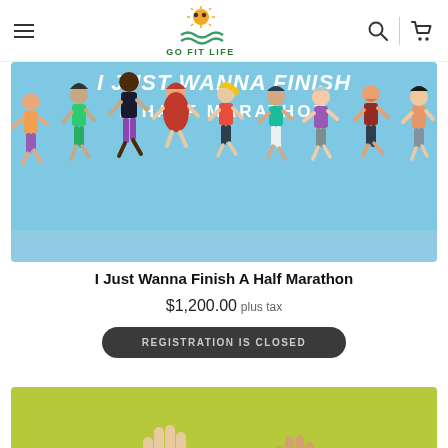Go Fit Life — navigation header with hamburger menu, logo, search icon, cart icon
[Figure (illustration): Illustrated promotional image for 'I Just Wanna Finish A Half Marathon' showing diverse group of runners on light blue background with bold white text]
I Just Wanna Finish A Half Marathon
$1,200.00 plus tax
REGISTRATION IS CLOSED
[Figure (photo): Partial image showing hands raised on yellow/green background — bottom product card]